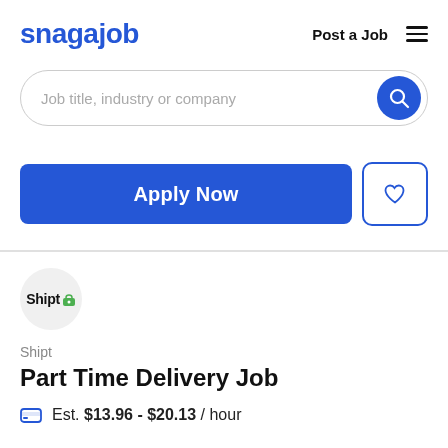snagajob  Post a Job ☰
[Figure (screenshot): Search bar with placeholder text 'Job title, industry or company' and a blue circular search button]
[Figure (screenshot): Blue 'Apply Now' button and a white square button with blue heart icon]
[Figure (logo): Shipt company logo in a light gray circle, with a small green lock badge]
Shipt
Part Time Delivery Job
Est. $13.96 - $20.13 / hour